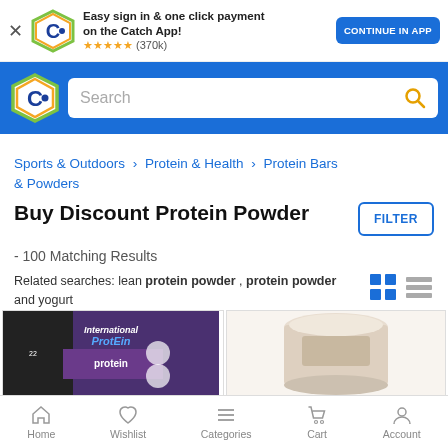[Figure (screenshot): App banner with Catch logo, text 'Easy sign in & one click payment on the Catch App!', star rating (370k), and CONTINUE IN APP button]
[Figure (screenshot): Catch.com.au navigation bar with logo and search box]
Sports & Outdoors > Protein & Health > Protein Bars & Powders
Buy Discount Protein Powder
- 100 Matching Results
Related searches: lean protein powder , protein powder and yogurt
[Figure (screenshot): Two product images: International Protein powder pack and a beige protein powder tub]
Home  Wishlist  Categories  Cart  Account